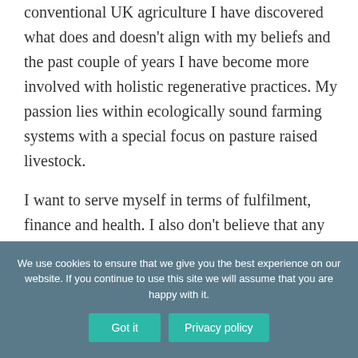conventional UK agriculture I have discovered what does and doesn't align with my beliefs and the past couple of years I have become more involved with holistic regenerative practices. My passion lies within ecologically sound farming systems with a special focus on pasture raised livestock.

I want to serve myself in terms of fulfilment, finance and health. I also don't believe that any business sits
We use cookies to ensure that we give you the best experience on our website. If you continue to use this site we will assume that you are happy with it.